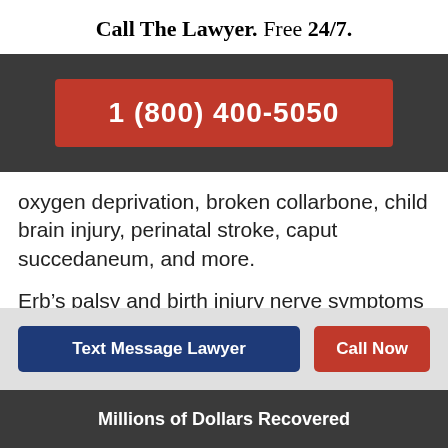Call The Lawyer. Free 24/7.
[Figure (infographic): Dark grey banner with red button showing phone number 1 (800) 400-5050]
oxygen deprivation, broken collarbone, child brain injury, perinatal stroke, caput succedaneum, and more.
Erb’s palsy and birth injury nerve symptoms can
[Figure (infographic): Light grey call-to-action bar with two buttons: 'Text Message Lawyer' (dark blue) and 'Call Now' (red)]
Millions of Dollars Recovered